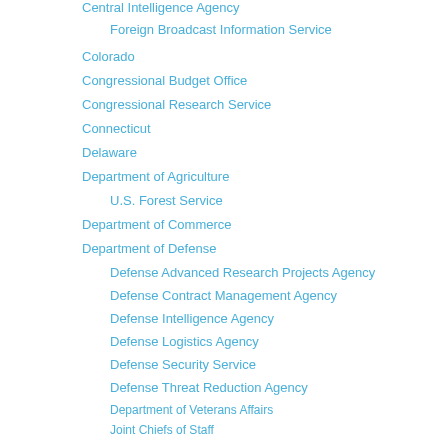Central Intelligence Agency
Foreign Broadcast Information Service
Colorado
Congressional Budget Office
Congressional Research Service
Connecticut
Delaware
Department of Agriculture
U.S. Forest Service
Department of Commerce
Department of Defense
Defense Advanced Research Projects Agency
Defense Contract Management Agency
Defense Intelligence Agency
Defense Logistics Agency
Defense Security Service
Defense Threat Reduction Agency
Department of Veterans Affairs
Joint Chiefs of Staff
Joint Improvised Explosive Device Defeat Organization
Multi-National Corps Iraq
National Defense University